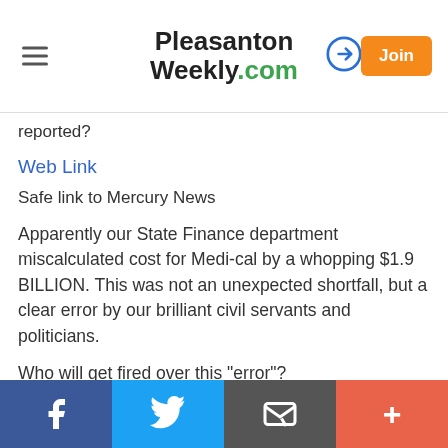Pleasanton Weekly.com
reported?
Web Link
Safe link to Mercury News
Apparently our State Finance department miscalculated cost for Medi-cal by a whopping $1.9 BILLION. This was not an unexpected shortfall, but a clear error by our brilliant civil servants and politicians.
Who will get fired over this "error"?
Democrats unavailable for comment.
Report Objectionable Content
f | Twitter | email | +